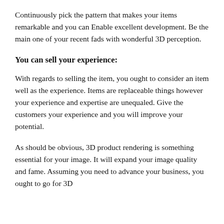Continuously pick the pattern that makes your items remarkable and you can Enable excellent development. Be the main one of your recent fads with wonderful 3D perception.
You can sell your experience:
With regards to selling the item, you ought to consider an item well as the experience. Items are replaceable things however your experience and expertise are unequaled. Give the customers your experience and you will improve your potential.
As should be obvious, 3D product rendering is something essential for your image. It will expand your image quality and fame. Assuming you need to advance your business, you ought to go for 3D